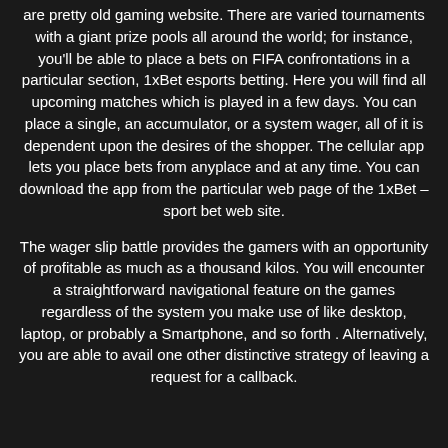are pretty old gaming website. There are varied tournaments with a giant prize pools all around the world; for instance, you'll be able to place a bets on FIFA confrontations in a particular section, 1xBet esports betting. Here you will find all upcoming matches which is played in a few days. You can place a single, an accumulator, or a system wager, all of it is dependent upon the desires of the shopper. The cellular app lets you place bets from anyplace and at any time. You can download the app from the particular web page of the 1xBet – sport bet web site.
The wager slip battle provides the gamers with an opportunity of profitable as much as a thousand kilos. You will encounter a straightforward navigational feature on the games regardless of the system you make use of like desktop, laptop, or probably a Smartphone, and so forth . Alternatively, you are able to avail one other distinctive strategy of leaving a request for a callback.